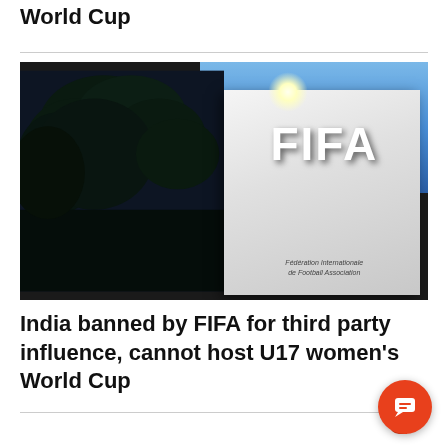World Cup
[Figure (photo): FIFA headquarters sign showing 'FIFA' in large white letters and 'Fédération Internationale de Football Association' text below, with trees and blue sky in background]
India banned by FIFA for third party influence, cannot host U17 women's World Cup